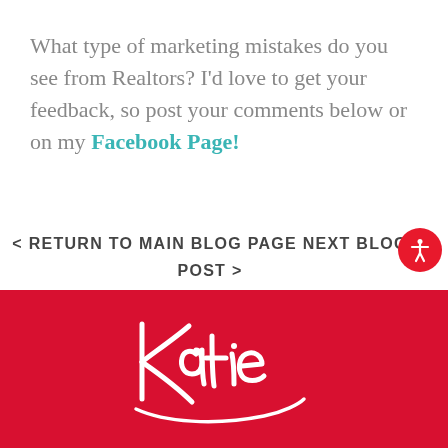What type of marketing mistakes do you see from Realtors? I'd love to get your feedback, so post your comments below or on my Facebook Page!
< RETURN TO MAIN BLOG PAGE
NEXT BLOG POST >
[Figure (logo): Katie cursive signature logo in white on a red/crimson background]